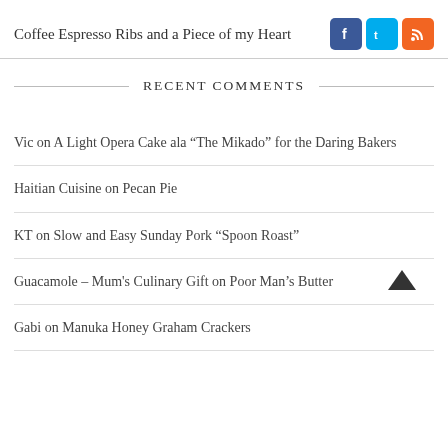Coffee Espresso Ribs and a Piece of my Heart
RECENT COMMENTS
Vic on A Light Opera Cake ala “The Mikado” for the Daring Bakers
Haitian Cuisine on Pecan Pie
KT on Slow and Easy Sunday Pork “Spoon Roast”
Guacamole – Mum's Culinary Gift on Poor Man’s Butter
Gabi on Manuka Honey Graham Crackers